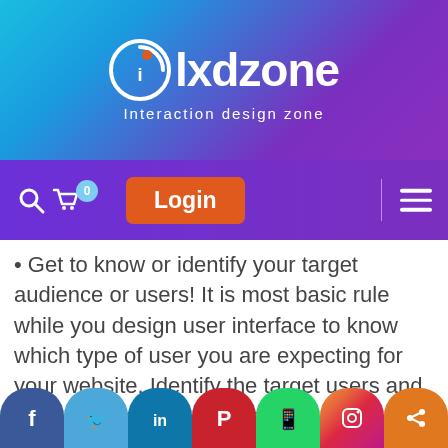[Figure (logo): IXDzone (Interaction design zone) logo with circular icon and white text on gradient blue-purple background]
[Figure (screenshot): Website navigation bar with search icon, shopping cart with badge 0, orange Login button, vertical divider, and hamburger menu on purple gradient background]
• Get to know or identify your target audience or users! It is most basic rule while you design user interface to know which type of user you are expecting for your website. Identify the target users and then start design UI by keeping them in mind.
• Get some references from similar websites! It is best to observe and refer the similar kind of website or applications available on internet, it
[Figure (infographic): Social sharing bar at bottom with Facebook, Twitter, LinkedIn, Pinterest, WhatsApp, Instagram, and share icons]